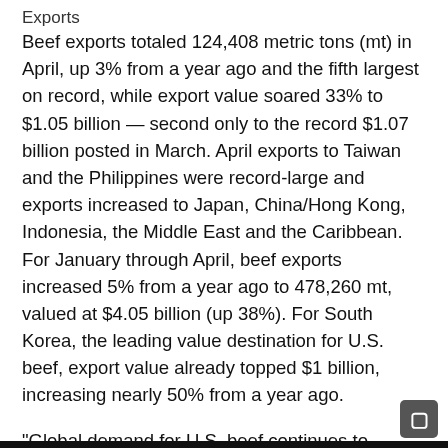Exports
Beef exports totaled 124,408 metric tons (mt) in April, up 3% from a year ago and the fifth largest on record, while export value soared 33% to $1.05 billion — second only to the record $1.07 billion posted in March. April exports to Taiwan and the Philippines were record-large and exports increased to Japan, China/Hong Kong, Indonesia, the Middle East and the Caribbean. For January through April, beef exports increased 5% from a year ago to 478,260 mt, valued at $4.05 billion (up 38%). For South Korea, the leading value destination for U.S. beef, export value already topped $1 billion, increasing nearly 50% from a year ago.
“Global demand for U.S. beef continues to overcome enormous obstacles, from inflationary pressure to logistical challenges to the recent lockdowns in some of China’s major metropolitan areas,” said Dan Halstrom, USMEF President and CEO. “Most encouraging is that even as beef exports climb to unprecedented levels in our